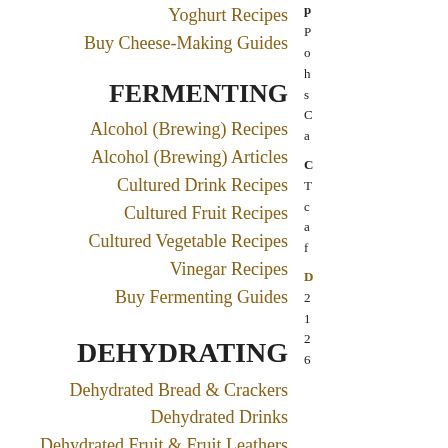Yoghurt Recipes
Buy Cheese-Making Guides
FERMENTING
Alcohol (Brewing) Recipes
Alcohol (Brewing) Articles
Cultured Drink Recipes
Cultured Fruit Recipes
Cultured Vegetable Recipes
Vinegar Recipes
Buy Fermenting Guides
DEHYDRATING
Dehydrated Bread & Crackers
Dehydrated Drinks
Dehydrated Fruit & Fruit Leathers
Dehydrated Granola, Slices & Snacks
Dehydrated Vegetables
Dried Soups & Stews
p
P o h s C a
C T c a f
D 2 1 2 6